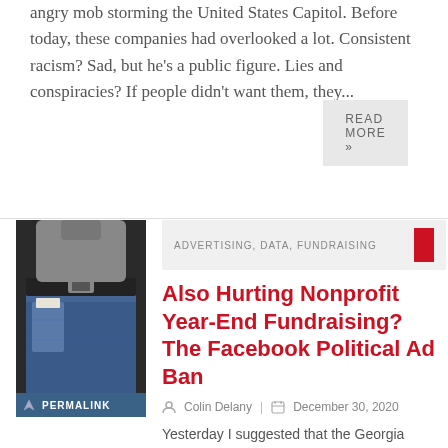angry mob storming the United States Capitol. Before today, these companies had overlooked a lot. Consistent racism? Sad, but he's a public figure. Lies and conspiracies? If people didn't want them, they...
READ MORE »
[Figure (photo): Person wearing jeans with empty pockets pulled out, showing they have no money. Dark background with belt visible. PERMALINK label at bottom.]
ADVERTISING, DATA, FUNDRAISING
Also Hurting Nonprofit Year-End Fundraising? The Facebook Political Ad Ban
Colin Delany | December 30, 2020
Yesterday I suggested that the Georgia